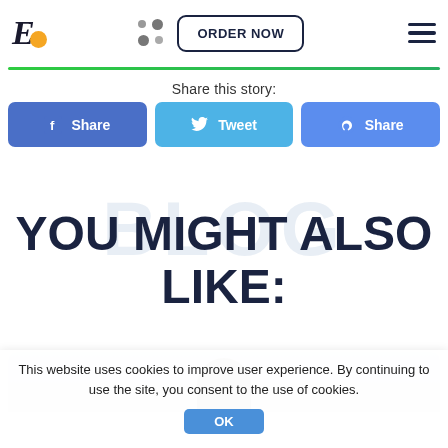[Figure (logo): Stylized cursive E logo with yellow circle accent]
[Figure (other): Three grey dots decorative element]
ORDER NOW
[Figure (other): Hamburger menu icon with three horizontal lines]
Share this story:
f  Share
Tweet
Share
YOU MIGHT ALSO LIKE:
[Figure (photo): Partial preview of a blog post image showing a person silhouette on grey background]
This website uses cookies to improve user experience. By continuing to use the site, you consent to the use of cookies.
OK